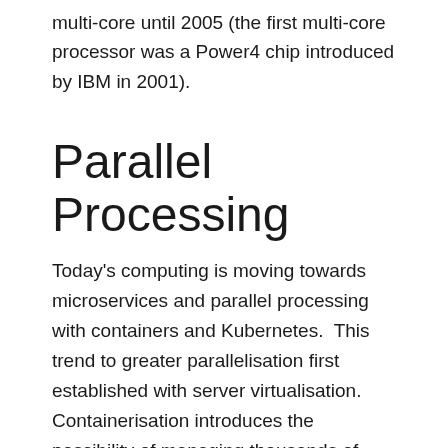multi-core until 2005 (the first multi-core processor was a Power4 chip introduced by IBM in 2001).
Parallel Processing
Today's computing is moving towards microservices and parallel processing with containers and Kubernetes.  This trend to greater parallelisation first established with server virtualisation.  Containerisation introduces the possibility of managing thousands of processes and threads on a single operating system – just the kind of workload that is suited to running across